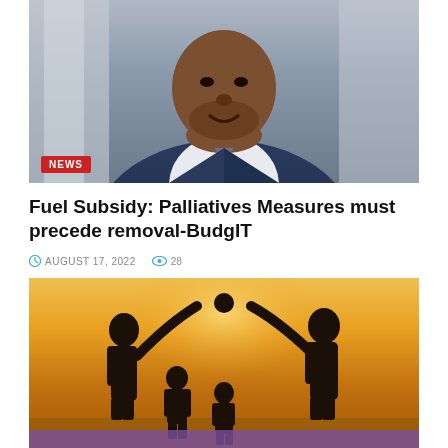[Figure (photo): Portrait photo of a Black man in a navy blue suit with a striped tie, photographed outdoors in front of a building. A red NEWS badge overlays the bottom-left corner of the image.]
Fuel Subsidy: Palliatives Measures must precede removal-BudgIT
AUGUST 17, 2022   28
[Figure (photo): Silhouette of a family (two adults and two children) forming a house shape with their hands against a warm golden-orange sunset sky. A purple strip appears at the bottom of the image.]